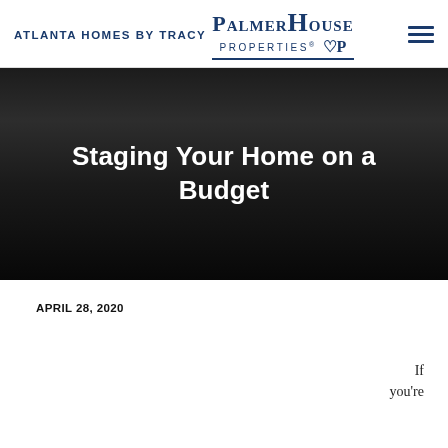Atlanta Homes by Tracy | PalmerHouse Properties
Staging Your Home on a Budget
APRIL 28, 2020
If you're